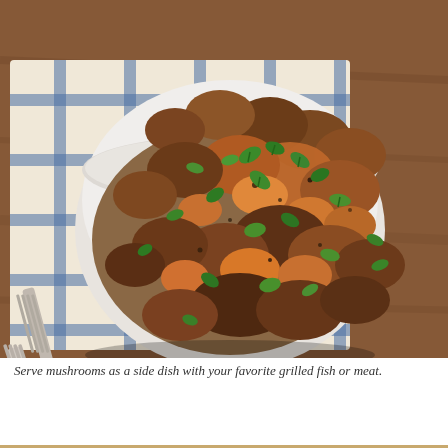[Figure (photo): Overhead photo of a white ceramic bowl filled with sautéed mushrooms garnished with chopped fresh parsley, sitting on a blue and white checkered kitchen towel on a wooden table. A metal fork is visible to the left side of the bowl.]
Serve mushrooms as a side dish with your favorite grilled fish or meat.